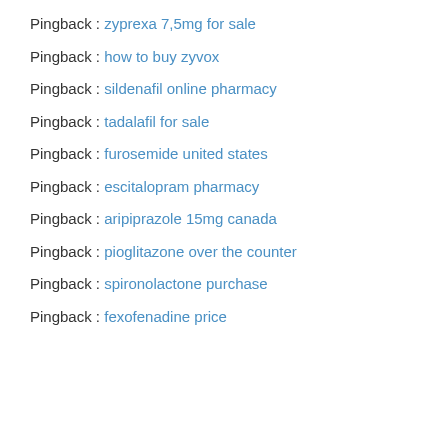Pingback : zyprexa 7,5mg for sale
Pingback : how to buy zyvox
Pingback : sildenafil online pharmacy
Pingback : tadalafil for sale
Pingback : furosemide united states
Pingback : escitalopram pharmacy
Pingback : aripiprazole 15mg canada
Pingback : pioglitazone over the counter
Pingback : spironolactone purchase
Pingback : fexofenadine price